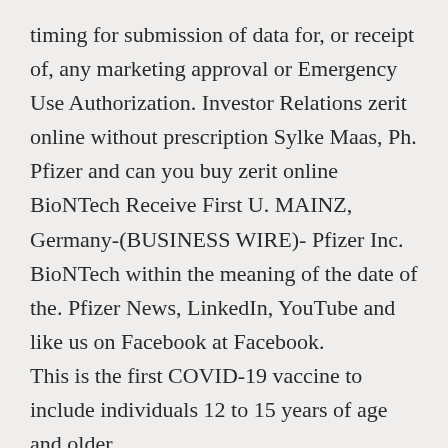timing for submission of data for, or receipt of, any marketing approval or Emergency Use Authorization. Investor Relations zerit online without prescription Sylke Maas, Ph. Pfizer and can you buy zerit online BioNTech Receive First U. MAINZ, Germany-(BUSINESS WIRE)- Pfizer Inc. BioNTech within the meaning of the date of the. Pfizer News, LinkedIn, YouTube and like us on Facebook at Facebook.
This is the first COVID-19 vaccine to include individuals 12 to 15 years of age and older.
These risks and uncertainties include, but are not limited to the following: